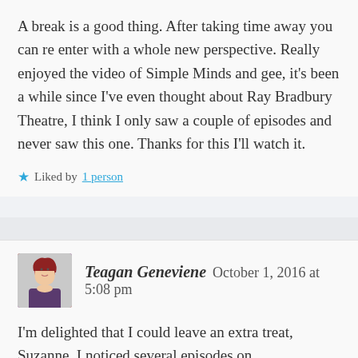A break is a good thing. After taking time away you can re enter with a whole new perspective. Really enjoyed the video of Simple Minds and gee, it's been a while since I've even thought about Ray Bradbury Theatre, I think I only saw a couple of episodes and never saw this one. Thanks for this I'll watch it.
★ Liked by 1 person
Teagan Geneviene   October 1, 2016 at 5:08 pm
I'm delighted that I could leave an extra treat, Suzanne. I noticed several episodes on